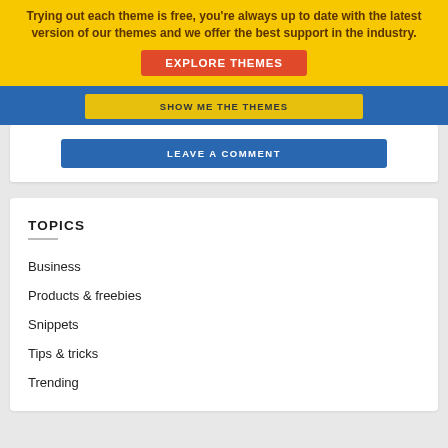Trying out each theme is free, you're always up to date with the latest version of our themes and we offer the best support in the industry.
EXPLORE THEMES
SHOW ME THE THEMES
LEAVE A COMMENT
TOPICS
Business
Products & freebies
Snippets
Tips & tricks
Trending